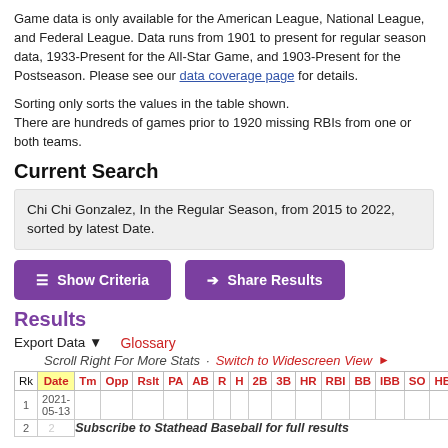Game data is only available for the American League, National League, and Federal League. Data runs from 1901 to present for regular season data, 1933-Present for the All-Star Game, and 1903-Present for the Postseason. Please see our data coverage page for details.
Sorting only sorts the values in the table shown.
There are hundreds of games prior to 1920 missing RBIs from one or both teams.
Current Search
Chi Chi Gonzalez, In the Regular Season, from 2015 to 2022, sorted by latest Date.
Show Criteria   Share Results
Results
Export Data ▼   Glossary
Scroll Right For More Stats · Switch to Widescreen View ▶
| Rk | Date | Tm | Opp | Rslt | PA | AB | R | H | 2B | 3B | HR | RBI | BB | IBB | SO | HBP |
| --- | --- | --- | --- | --- | --- | --- | --- | --- | --- | --- | --- | --- | --- | --- | --- | --- |
| 1 | 2021-05-13 |  |  |  |  |  |  |  |  |  |  |  |  |  |  |  |
| 2 | 2021-05-08 |  |  |  |  |  |  |  |  |  |  |  |  |  |  |  |